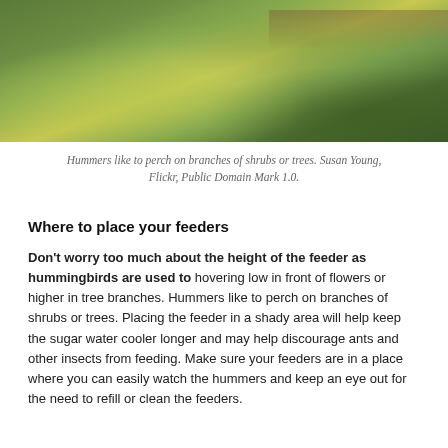[Figure (photo): Close-up photograph of green spring leaves and branches against a blurred green bokeh background. New maple-like leaf buds are visible, with a thin branch extending from the upper right.]
Hummers like to perch on branches of shrubs or trees. Susan Young, Flickr, Public Domain Mark 1.0.
Where to place your feeders
Don't worry too much about the height of the feeder as hummingbirds are used to hovering low in front of flowers or higher in tree branches. Hummers like to perch on branches of shrubs or trees. Placing the feeder in a shady area will help keep the sugar water cooler longer and may help discourage ants and other insects from feeding. Make sure your feeders are in a place where you can easily watch the hummers and keep an eye out for the need to refill or clean the feeders.